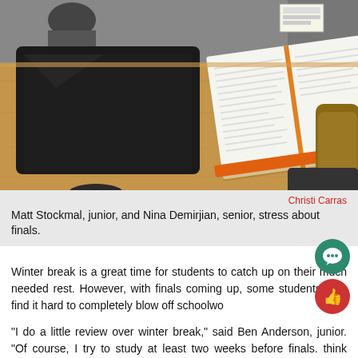[Figure (photo): A wooden desk with a black laptop on the left, an open textbook/notebook on the right, and a backpack visible in the background. A person is partially visible in the background.]
Christi Carras
Matt Stockmal, junior, and Nina Demirjian, senior, stress about finals.
Winter break is a great time for students to catch up on their much needed rest. However, with finals coming up, some students may find it hard to completely blow off schoolwo
“I do a little review over winter break,” said Ben Anderson, junior. “Of course, I try to study at least two weeks before finals. think finals after winter break is more beneficial because yo